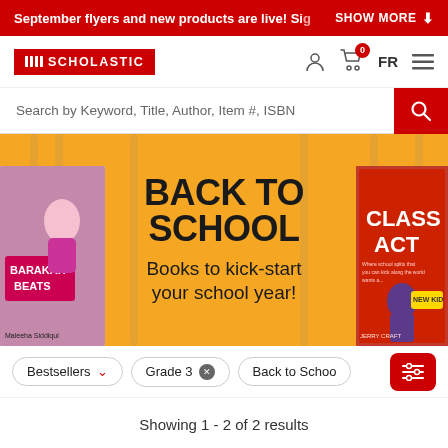September flyers and new products are live! Sig  SHOW MORE
[Figure (logo): Scholastic logo - red rectangle with open book icon and SCHOLASTIC text in white]
Search by Keyword, Title, Author, Item #, ISBN
[Figure (illustration): Back to School promotional banner with orange background, pencil watermarks, text BACK TO SCHOOL Books to kick-start your school year!, book covers for Barakah Beats on left and Class Act on right]
Bestsellers  Grade 3  Back to Schoo
Showing 1 - 2 of 2 results